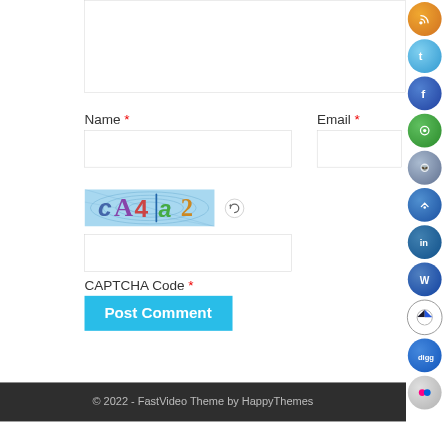[Figure (screenshot): Web form showing Name and Email input fields, a CAPTCHA image with refresh icon, a CAPTCHA text input, a Post Comment button, and a footer with copyright. Social media icons visible on right edge.]
Name *
Email *
CAPTCHA Code *
Post Comment
© 2022 - FastVideo Theme by HappyThemes